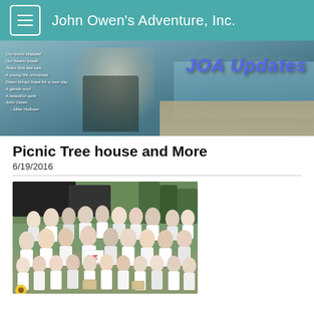John Owen's Adventure, Inc.
[Figure (photo): JOA Updates banner with a boy at a beach, poem text on left, and 'JOA Updates' logo on right on a teal/blue background]
Picnic Tree house and More
6/19/2016
[Figure (photo): Large group of people mostly wearing white t-shirts posing for a photo outdoors at what appears to be a community event. Someone in the middle holds a 'WE' sign.]